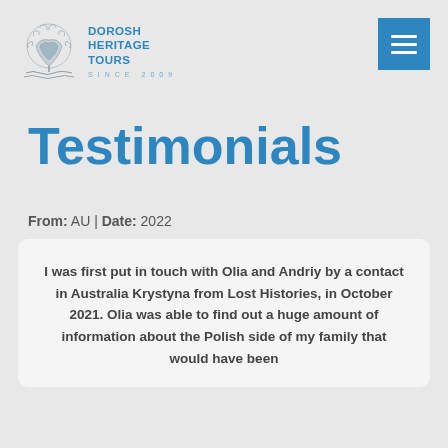[Figure (logo): Dorosh Heritage Tours logo with decorative tree and wavy lines, text reads DOROSH HERITAGE TOURS SINCE 2009]
Testimonials
From: AU | Date: 2022
I was first put in touch with Olia and Andriy by a contact in Australia Krystyna from Lost Histories, in October 2021. Olia was able to find out a huge amount of information about the Polish side of my family that would have been